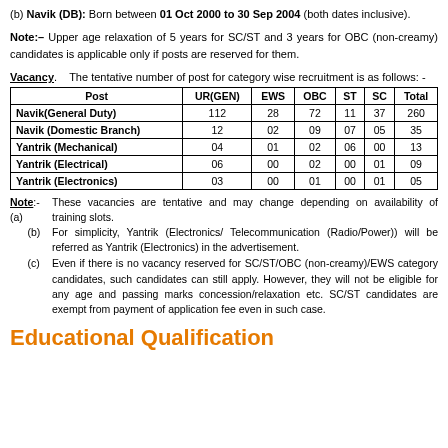(b) Navik (DB): Born between 01 Oct 2000 to 30 Sep 2004 (both dates inclusive).
Note:– Upper age relaxation of 5 years for SC/ST and 3 years for OBC (non-creamy) candidates is applicable only if posts are reserved for them.
Vacancy. The tentative number of post for category wise recruitment is as follows: -
| Post | UR(GEN) | EWS | OBC | ST | SC | Total |
| --- | --- | --- | --- | --- | --- | --- |
| Navik(General Duty) | 112 | 28 | 72 | 11 | 37 | 260 |
| Navik (Domestic Branch) | 12 | 02 | 09 | 07 | 05 | 35 |
| Yantrik (Mechanical) | 04 | 01 | 02 | 06 | 00 | 13 |
| Yantrik (Electrical) | 06 | 00 | 02 | 00 | 01 | 09 |
| Yantrik (Electronics) | 03 | 00 | 01 | 00 | 01 | 05 |
Note:-(a) These vacancies are tentative and may change depending on availability of training slots. (b) For simplicity, Yantrik (Electronics/ Telecommunication (Radio/Power)) will be referred as Yantrik (Electronics) in the advertisement. (c) Even if there is no vacancy reserved for SC/ST/OBC (non-creamy)/EWS category candidates, such candidates can still apply. However, they will not be eligible for any age and passing marks concession/relaxation etc. SC/ST candidates are exempt from payment of application fee even in such case.
Educational Qualification